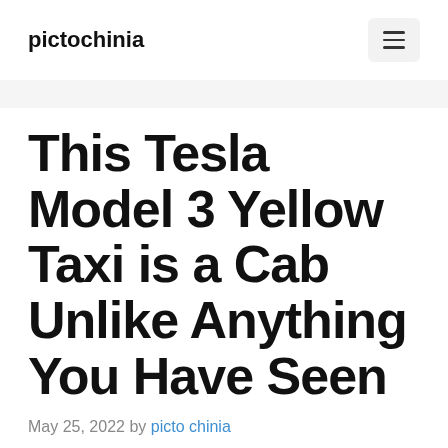pictochinia
This Tesla Model 3 Yellow Taxi is a Cab Unlike Anything You Have Seen
May 25, 2022 by picto chinia